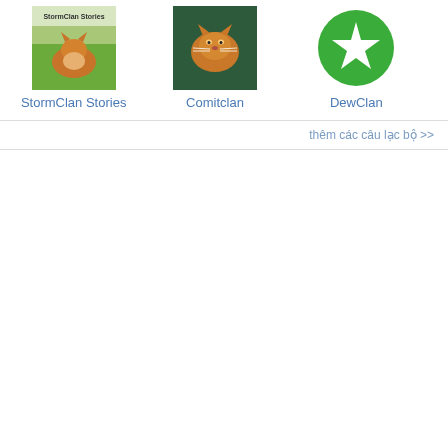[Figure (screenshot): StormClan Stories club icon - orange cat on green background with text 'StormClan Stories']
StormClan Stories
[Figure (photo): Comitclan club icon - photo of a cat]
Comitclan
[Figure (illustration): DewClan club icon - green circle with white star]
DewClan
thêm các câu lạc bộ >>